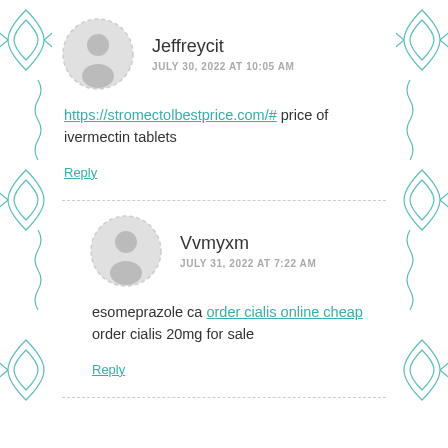Jeffreycit
JULY 30, 2022 AT 10:05 AM
https://stromectolbestprice.com/# price of ivermectin tablets
Reply
Vvmyxm
JULY 31, 2022 AT 7:22 AM
esomeprazole ca order cialis online cheap order cialis 20mg for sale
Reply